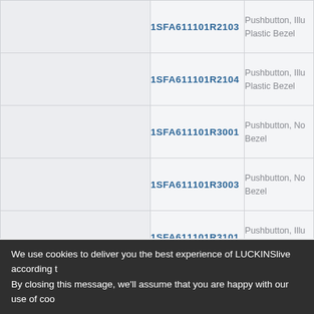| (left blank) | Part Number | Description |
| --- | --- | --- |
|  | 1SFA611101R2103 | Pushbutton, Illu Plastic Bezel |
|  | 1SFA611101R2104 | Pushbutton, Illu Plastic Bezel |
|  | 1SFA611101R3001 | Pushbutton, No Bezel |
|  | 1SFA611101R3003 | Pushbutton, No Bezel |
|  | 1SFA611101R3101 | Pushbutton, Illu Bezel |
|  | 1SFA611101R3102 | Pushbutton, Illu Bezel |
|  | 1SFA611101R3103 | Pushbutton, Illu Bezel |
|  | 1SFA611101R3104 | Pushbutton, Illu Bezel |
|  | (partial) | Pushbutton, No Plastic Bezel |
We use cookies to deliver you the best experience of LUCKINSlive according to By closing this message, we'll assume that you are happy with our use of coo